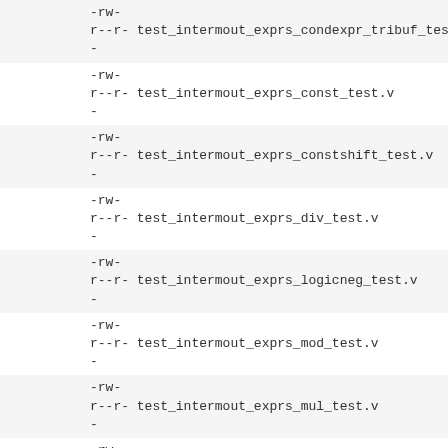-rw-
r--r-  test_intermout_exprs_condexpr_tribuf_test.v
-
-rw-
r--r-  test_intermout_exprs_const_test.v
-
-rw-
r--r-  test_intermout_exprs_constshift_test.v
-
-rw-
r--r-  test_intermout_exprs_div_test.v
-
-rw-
r--r-  test_intermout_exprs_logicneg_test.v
-
-rw-
r--r-  test_intermout_exprs_mod_test.v
-
-rw-
r--r-  test_intermout_exprs_mul_test.v
-
-rw-
r--r-  test_intermout_exprs_redand_test.v
-
-rw-
r--r-  test_intermout_exprs_redop_test.v
-
-rw-